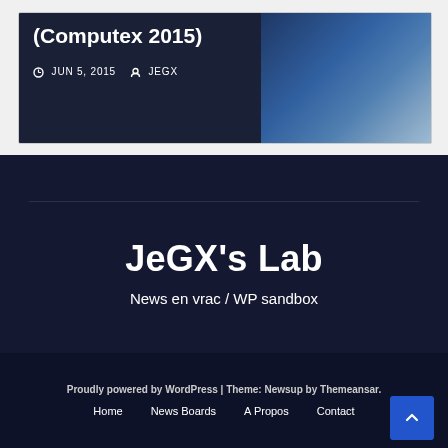[Figure (screenshot): Blog post card with dark background showing title '(Computex 2015)' in white bold text, date 'JUN 5, 2015' and author 'JEGX' with icons, and a partial image on the right side]
JeGX's Lab
News en vrac / WP sandbox
Proudly powered by WordPress | Theme: Newsup by Themeansar.
Home    News Boards    A Propos    Contact